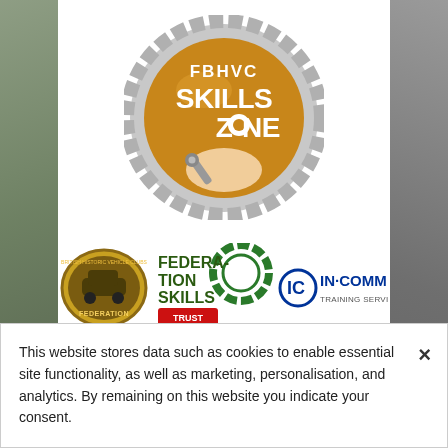[Figure (logo): FBHVC Skills Zone logo - golden/amber circular badge with gear border showing 'FBHVC SKILLS ZONE' text and a hand holding a wrench]
[Figure (logo): Three partner logos in a row: Federation of British Historic Vehicle Clubs (oval badge), Federation Skills Trust (green gear logo), and In-Comm Training Services (blue logo)]
[Figure (screenshot): Partial text visible at bottom of screenshot area reading 'New interactive Federation Skills Zone added to th...']
This website stores data such as cookies to enable essential site functionality, as well as marketing, personalisation, and analytics. By remaining on this website you indicate your consent.